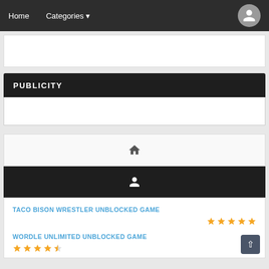Home  Categories
[Figure (screenshot): White content box (partial, top of page)]
PUBLICITY
[Figure (other): Home icon in white box]
[Figure (other): User/person icon in dark bar]
TACO BISON WRESTLER UNBLOCKED GAME
WORDLE UNLIMITED UNBLOCKED GAME